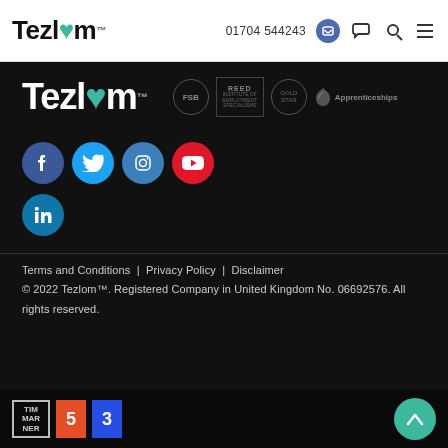Tezlom™ — 01704 544243
[Figure (logo): Tezlom logo with teal heart and location pin, white background header]
[Figure (logo): Tezlom footer logo in white with teal heart, plus FSB, REED Institute, and Apprenticeships accreditation badges]
[Figure (illustration): Social media icon buttons: Facebook, Twitter, Instagram, YouTube, LinkedIn]
Terms and Conditions | Privacy Policy | Disclaimer © 2022 Tezlom™. Registered Company in United Kingdom No. 06692576. All rights reserved.
[Figure (logo): Tim Marner developer logo, HTML5 badge, CSS3 badge, and back-to-top teal button]